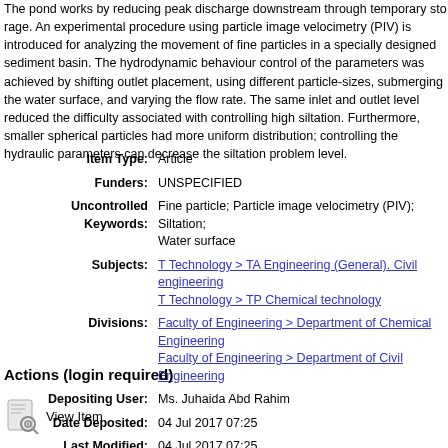The pond works by reducing peak discharge downstream through temporary storage. An experimental procedure using particle image velocimetry (PIV) is introduced for analyzing the movement of fine particles in a specially designed sediment basin. The hydrodynamic behaviour control of the parameters was achieved by shifting outlet placement, using different particle-sizes, submerging the water surface, and varying the flow rate. The same inlet and outlet level reduced the difficulty associated with controlling high siltation. Furthermore, smaller spherical particles had more uniform distribution; controlling the hydraulic parameters can decrease the siltation problem level.
| Item Type: | Article |
| Funders: | UNSPECIFIED |
| Uncontrolled Keywords: | Fine particle; Particle image velocimetry (PIV); Siltation; Water surface |
| Subjects: | T Technology > TA Engineering (General). Civil engineering
T Technology > TP Chemical technology |
| Divisions: | Faculty of Engineering > Department of Chemical Engineering
Faculty of Engineering > Department of Civil Engineering |
| Depositing User: | Ms. Juhaida Abd Rahim |
| Date Deposited: | 04 Jul 2017 07:25 |
| Last Modified: | 04 Jul 2017 07:25 |
| URI: | http://eprints.um.edu.my/id/eprint/17427 |
Actions (login required)
View Item